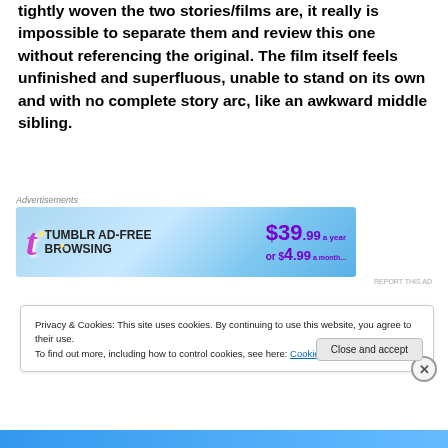tightly woven the two stories/films are, it really is impossible to separate them and review this one without referencing the original. The film itself feels unfinished and superfluous, unable to stand on its own and with no complete story arc, like an awkward middle sibling.
[Figure (other): Tumblr Ad-Free Browsing advertisement banner. Blue gradient background with Tumblr logo, price $39.99/year or $4.99/month.]
Privacy & Cookies: This site uses cookies. By continuing to use this website, you agree to their use.
To find out more, including how to control cookies, see here: Cookie Policy
Close and accept